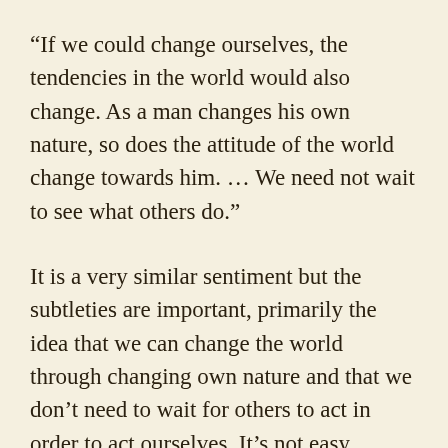“If we could change ourselves, the tendencies in the world would also change. As a man changes his own nature, so does the attitude of the world change towards him. … We need not wait to see what others do.”
It is a very similar sentiment but the subtleties are important, primarily the idea that we can change the world through changing own nature and that we don’t need to wait for others to act in order to act ourselves. It’s not easy, especially when it’s mixed in with anger, by taking the negative energy and redirecting it can be incredibly powerful. Teaching our kids to channel their fear and anxiety into positive, loving action not only